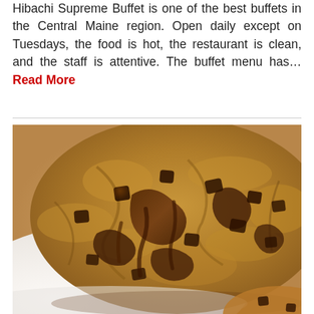Hibachi Supreme Buffet is one of the best buffets in the Central Maine region. Open daily except on Tuesdays, the food is hot, the restaurant is clean, and the staff is attentive. The buffet menu has… Read More
[Figure (photo): Close-up photo of a large chocolate chip cookie on a white plate, with melted chocolate chunks visible on top of the golden-brown cookie.]